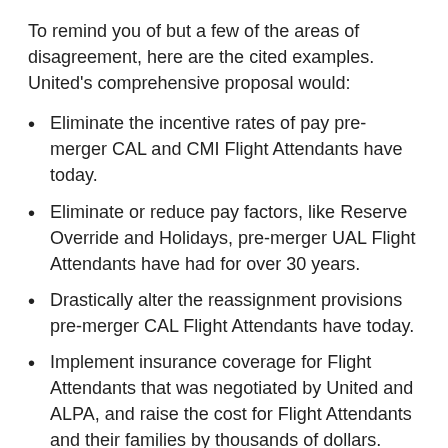To remind you of but a few of the areas of disagreement, here are the cited examples. United's comprehensive proposal would:
Eliminate the incentive rates of pay pre-merger CAL and CMI Flight Attendants have today.
Eliminate or reduce pay factors, like Reserve Override and Holidays, pre-merger UAL Flight Attendants have had for over 30 years.
Drastically alter the reassignment provisions pre-merger CAL Flight Attendants have today.
Implement insurance coverage for Flight Attendants that was negotiated by United and ALPA, and raise the cost for Flight Attendants and their families by thousands of dollars.
Implement wage rates for Flight Attendants that are below American and Delta, and do not approach them until the third year of the